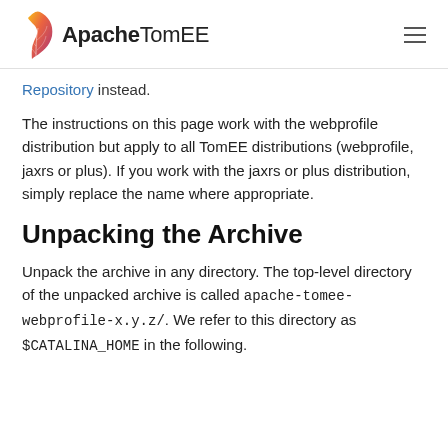Apache TomEE
Repository instead.
The instructions on this page work with the webprofile distribution but apply to all TomEE distributions (webprofile, jaxrs or plus). If you work with the jaxrs or plus distribution, simply replace the name where appropriate.
Unpacking the Archive
Unpack the archive in any directory. The top-level directory of the unpacked archive is called apache-tomee-webprofile-x.y.z/. We refer to this directory as $CATALINA_HOME in the following.